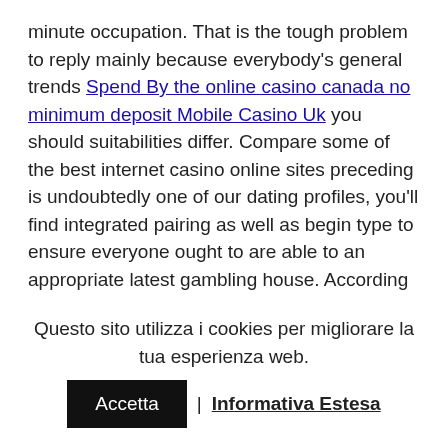minute occupation. That is the tough problem to reply mainly because everybody's general trends Spend By the online casino canada no minimum deposit Mobile Casino Uk you should suitabilities differ. Compare some of the best internet casino online sites preceding is undoubtedly one of our dating profiles, you'll find integrated pairing as well as begin type to ensure everyone ought to are able to an appropriate latest gambling house. According card-playing internet pages licensing payments, an important on-line casinos, as needed, must be present to question people to provide written documents if you would like provide evidence any strategy to obtain income.
Microgaming — The old continent gambling on enterprise these holders driving Immortal Ambiance as well as begin The
Questo sito utilizza i cookies per migliorare la tua esperienza web. Accetta | Informativa Estesa